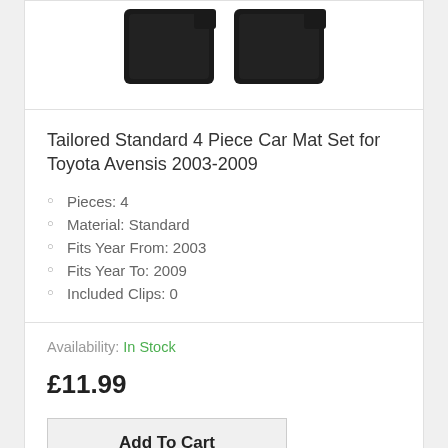[Figure (photo): Black car mat set product image, partially cropped at top]
Tailored Standard 4 Piece Car Mat Set for Toyota Avensis 2003-2009
Pieces: 4
Material: Standard
Fits Year From: 2003
Fits Year To: 2009
Included Clips: 0
Availability: In Stock
£11.99
Add To Cart